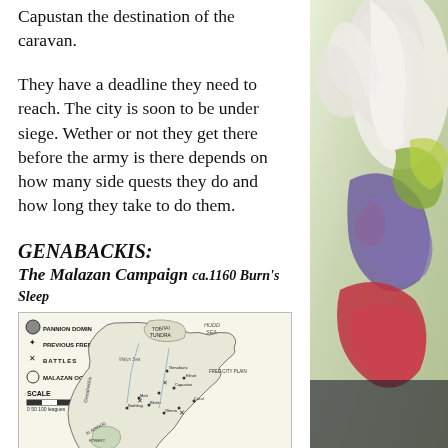Capustan the destination of the caravan.
They have a deadline they need to reach. The city is soon to be under siege. Wether or not they get there before the army is there depends on how many side quests they do and how long they take to do them.
GENABACKIS: The Malazan Campaign ca.1160 Burn's Sleep
[Figure (map): Map of Genabackis showing the Malazan Campaign circa 1160 Burn's Sleep, with legend indicating Pannion Domin, Previous Free Cities, Battles, and Malazan Occupation, and a scale bar. Features labeled regions including Toблai Tundra, Hudd Sea, Malyn Sea, Free City Plain, Blackdog Forest, Old King Plateau, Harborbase Peninsula, and many cities and battle sites.]
[Figure (illustration): Colorful fantasy illustration on the right side of the page showing a creature or figure with dramatic colors including white, purple, red, green, and blue.]